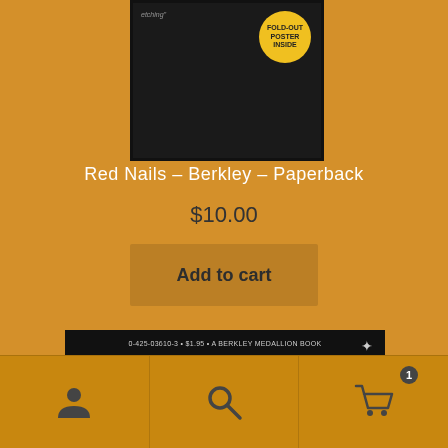[Figure (photo): Partial view of a book cover, dark background with a circular yellow badge reading FOLD-OUT POSTER INSIDE and handwritten text in top left corner]
Red Nails – Berkley – Paperback
$10.00
Add to cart
[Figure (photo): Back cover of a paperback book showing ISBN 0-425-03610-3, price $1.95, A BERKLEY MEDALLION BOOK, author name ROBERT E. HOWARD in large white bold text on black background, with red lettering partially visible at bottom]
[Figure (infographic): Mobile navigation bar with three icons: user/person icon, search/magnifying glass icon, and shopping cart icon with badge showing 1 item]